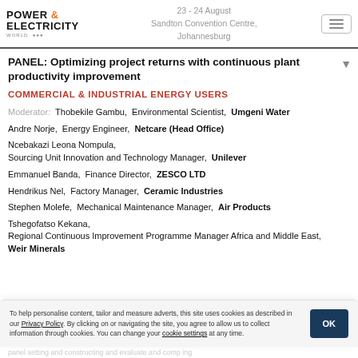POWER & ELECTRICITY WORLD | 23 - 24 August | Sandton Convention Centre, Johannesburg
PANEL: Optimizing project returns with continuous plant productivity improvement
COMMERCIAL & INDUSTRIAL ENERGY USERS
Moderator: Thobekile Gambu, Environmental Scientist, Umgeni Water
Andre Norje, Energy Engineer, Netcare (Head Office)
Ncebakazi Leona Nompula, Sourcing Unit Innovation and Technology Manager, Unilever
Emmanuel Banda, Finance Director, ZESCO LTD
Hendrikus Nel, Factory Manager, Ceramic Industries
Stephen Molefe, Mechanical Maintenance Manager, Air Products
Tshegofatso Kekana, Regional Continuous Improvement Programme Manager Africa and Middle East, Weir Minerals
To help personalise content, tailor and measure adverts, this site uses cookies as described in our Privacy Policy. By clicking on or navigating the site, you agree to allow us to collect information through cookies. You can change your cookie settings at any time.